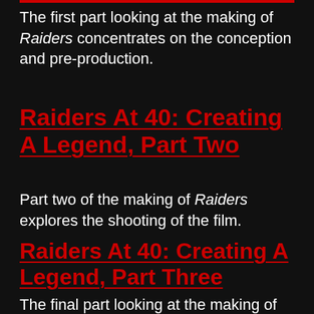The first part looking at the making of Raiders concentrates on the conception and pre-production.
Raiders At 40: Creating A Legend, Part Two
Part two of the making of Raiders explores the shooting of the film.
Raiders At 40: Creating A Legend, Part Three
The final part looking at the making of